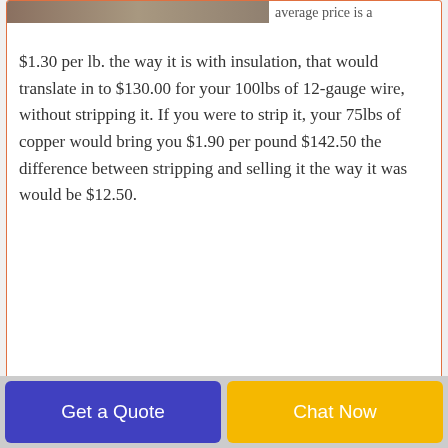[Figure (photo): Industrial wire stripping machinery, top portion visible at top-left of first card]
average price is a $1.30 per lb. the way it is with insulation, that would translate in to $130.00 for your 100lbs of 12-gauge wire, without stripping it. If you were to strip it, your 75lbs of copper would bring you $1.90 per pound $142.50 the difference between stripping and selling it the way it was would be $12.50.
[Figure (photo): Industrial high output scrap metal recycling wire stripping machine with blue tanks and red components, worker in hard hat visible]
high output scrap metal recycling For the wire-stripping
high output scrap
Get a Quote
Chat Now